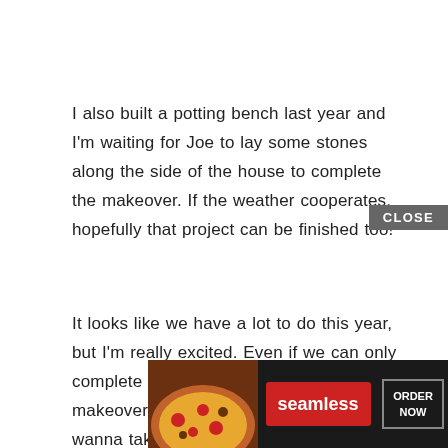I also built a potting bench last year and I'm waiting for Joe to lay some stones along the side of the house to complete the makeover. If the weather cooperates, hopefully that project can be finished too!
It looks like we have a lot to do this year, but I'm really excited. Even if we can only complete the new flooring and kitchen makeover, I will be ecstatic. This year I wanna take it slow, take it all in, an[d really] appr[eciate what] [home] has [to offer]
[Figure (screenshot): Advertisement overlay from Seamless food delivery service showing pizza image, Seamless logo button in red, and ORDER NOW button in a dark background, with a CLOSE button.]